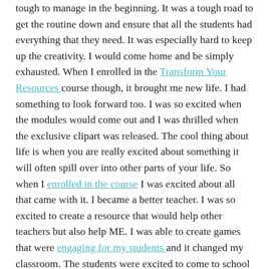tough to manage in the beginning. It was a tough road to get the routine down and ensure that all the students had everything that they need. It was especially hard to keep up the creativity. I would come home and be simply exhausted. When I enrolled in the Transform Your Resources course though, it brought me new life. I had something to look forward too. I was so excited when the modules would come out and I was thrilled when the exclusive clipart was released. The cool thing about life is when you are really excited about something it will often spill over into other parts of your life. So when I enrolled in the course I was excited about all that came with it. I became a better teacher. I was so excited to create a resource that would help other teachers but also help ME. I was able to create games that were engaging for my students and it changed my classroom. The students were excited to come to school and I was too. I couldn't wait to try out a new activity with them. Rather than being overwhelmed and wondering how I